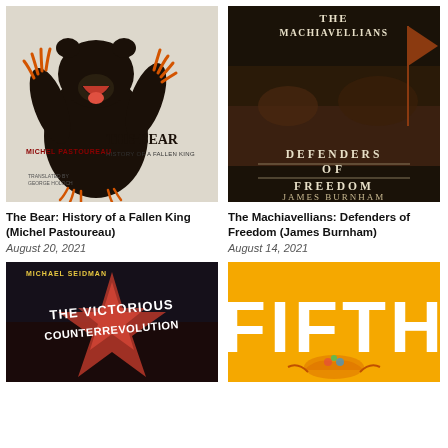[Figure (illustration): Book cover: The Bear: History of a Fallen King by Michel Pastoureau. Shows a large dark bear with orange claws on a pale background.]
[Figure (illustration): Book cover: The Machiavellians: Defenders of Freedom by James Burnham. Dark background with battle scene and white text.]
The Bear: History of a Fallen King (Michel Pastoureau)
The Machiavellians: Defenders of Freedom (James Burnham)
August 20, 2021
August 14, 2021
[Figure (illustration): Book cover: The Victorious Counterrevolution by Michael Seidman. Dark background with stylized text and lightning bolt imagery.]
[Figure (illustration): Book cover: Fifth (partial title visible). Orange/yellow background with white large text FIFTH and decorative bird/phoenix illustration.]